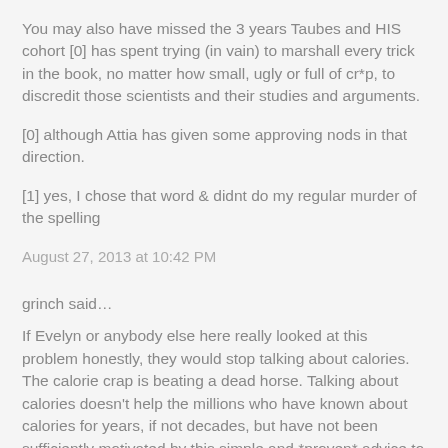You may also have missed the 3 years Taubes and HIS cohort [0] has spent trying (in vain) to marshall every trick in the book, no matter how small, ugly or full of cr*p, to discredit those scientists and their studies and arguments.
[0] although Attia has given some approving nods in that direction.
[1] yes, I chose that word & didnt do my regular murder of the spelling
August 27, 2013 at 10:42 PM
grinch said…
If Evelyn or anybody else here really looked at this problem honestly, they would stop talking about calories. The calorie crap is beating a dead horse. Talking about calories doesn't help the millions who have known about calories for years, if not decades, but have not been sufficiently motivated by this simple and *proven* advice to actually maintain any type